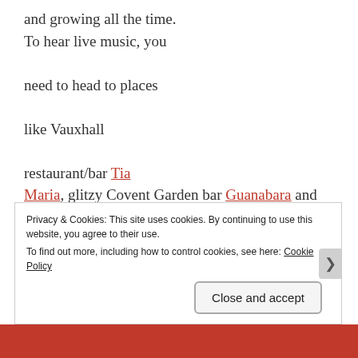and growing all the time. To hear live music, you need to head to places like Vauxhall restaurant/bar Tia Maria, glitzy Covent Garden bar Guanabara and Camden restaurant/bar Made in Brasil. As well as samba you'll find choro, bossa nova, forro, MPB... the list goes on. Many non-Brazilian venues also hold regular Brazilian music nights too, such as Ronnie's Bar (above famous Soho jazz club Ronnie Scott's) and Primo near Westminster. And don't forget to look out for samba,
Privacy & Cookies: This site uses cookies. By continuing to use this website, you agree to their use. To find out more, including how to control cookies, see here: Cookie Policy
Close and accept